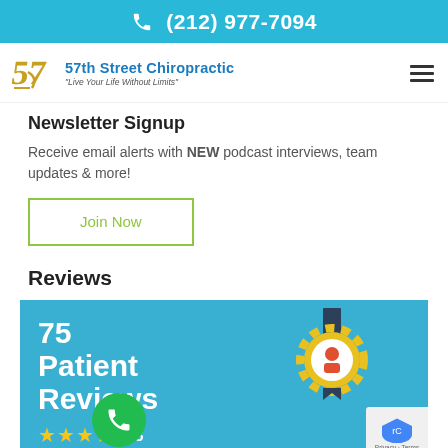(212) 977-7094
[Figure (logo): 57th Street Chiropractic logo with gold '57' numeral and blue text brand name and tagline 'Live Your Life Without Limits']
Newsletter Signup
Receive email alerts with NEW podcast interviews, team updates & more!
Join Now
Reviews
[Figure (infographic): Reviews widget showing '75 Patient Reviews' in white text on blue background with gold star rating badge ribbon and 5 gold stars with number 5 at bottom. Green phone call button overlay.]